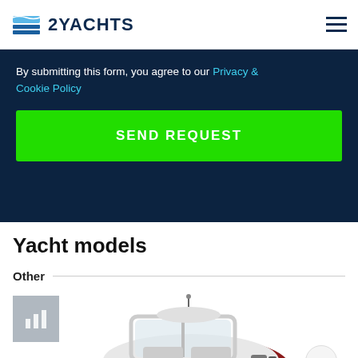2YACHTS
By submitting this form, you agree to our Privacy & Cookie Policy
SEND REQUEST
Yacht models
Other
[Figure (photo): Partial view of a yacht/motorboat from above, showing the windshield, seating and hull in white and red/maroon colors]
[Figure (other): Small grey placeholder icon with bar chart symbol]